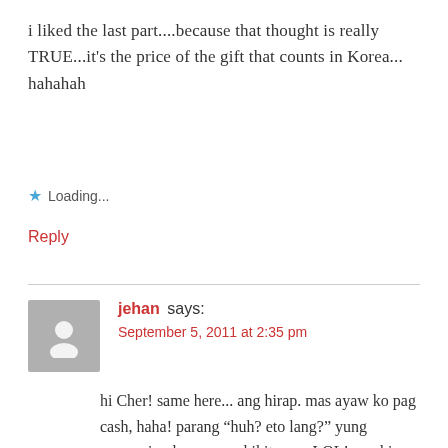i liked the last part....because that thought is really TRUE...it’s the price of the gift that counts in Korea... hahahah
★ Loading...
Reply
jehan says:
September 5, 2011 at 2:35 pm
hi Cher! same here... ang hirap. mas ayaw ko pag cash, haha! parang “huh? eto lang?” yung expression kase na makikita mo, LOL! ang hirap talaga.. haha.